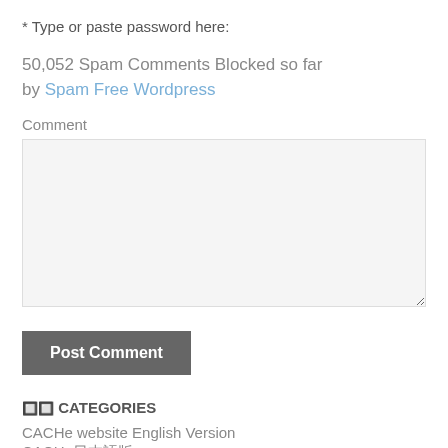* Type or paste password here:
50,052 Spam Comments Blocked so far by Spam Free Wordpress
Comment
Post Comment
🔲🔲 CATEGORIES
CACHe website English Version
CACHe日本語版